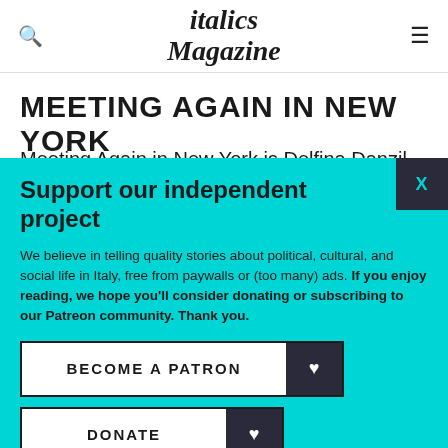italics Magazine
MEETING AGAIN IN NEW YORK
Meeting Again in New York by Delfina Danzil…
Support our independent project
We believe in telling quality stories about political, cultural, and social life in Italy, free from paywalls or (too many) ads. If you enjoy reading, we hope you'll consider donating or subscribing to our Patreon community. Thank you.
BECOME A PATRON
DONATE
Follow us: Facebook Instagram Twitter